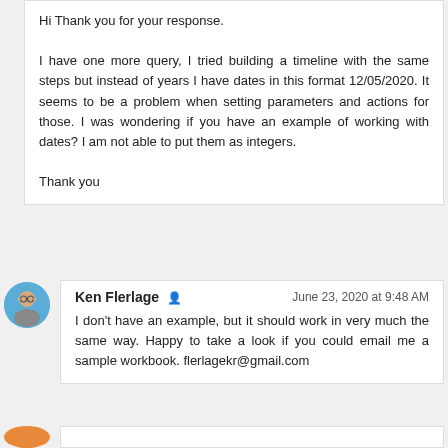Hi Thank you for your response.

I have one more query, I tried building a timeline with the same steps but instead of years I have dates in this format 12/05/2020. It seems to be a problem when setting parameters and actions for those. I was wondering if you have an example of working with dates? I am not able to put them as integers.

Thank you
Ken Flerlage  June 23, 2020 at 9:48 AM

I don't have an example, but it should work in very much the same way. Happy to take a look if you could email me a sample workbook. flerlagekr@gmail.com
Reply